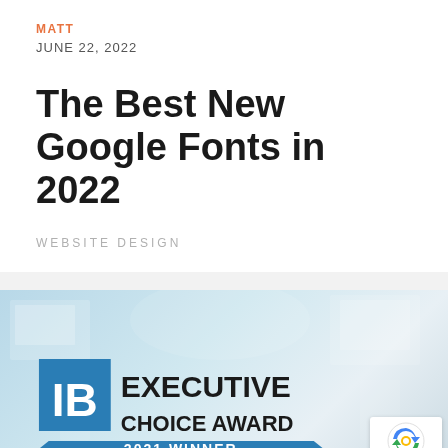MATT
JUNE 22, 2022
The Best New Google Fonts in 2022
WEBSITE DESIGN
[Figure (photo): IB Executive Choice Award 2021 Winner badge displayed over a blurred light blue office background, with a reCAPTCHA badge in the bottom right corner.]